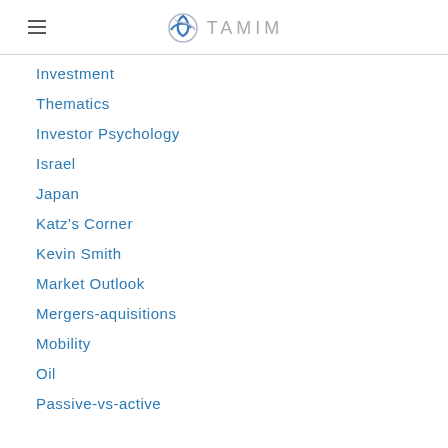TAMIM
Investment
Thematics
Investor Psychology
Israel
Japan
Katz's Corner
Kevin Smith
Market Outlook
Mergers-aquisitions
Mobility
Oil
Passive-vs-active